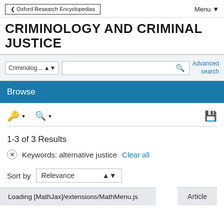Oxford Research Encyclopedias
CRIMINOLOGY AND CRIMINAL JUSTICE
Advanced search
Browse
1-3 of 3 Results
Keywords: alternative justice  Clear all
Sort by  Relevance
Loading [MathJax]/extensions/MathMenu.js
Article